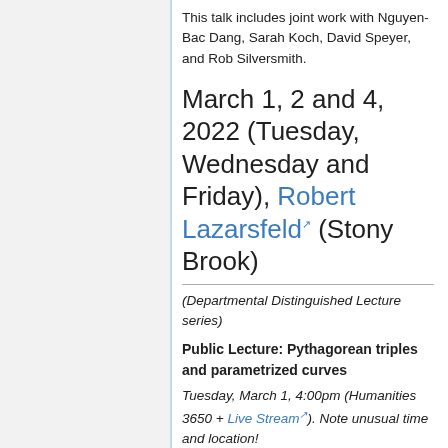This talk includes joint work with Nguyen-Bac Dang, Sarah Koch, David Speyer, and Rob Silversmith.
March 1, 2 and 4, 2022 (Tuesday, Wednesday and Friday), Robert Lazarsfeld (Stony Brook)
(Departmental Distinguished Lecture series)
Public Lecture: Pythagorean triples and parametrized curves
Tuesday, March 1, 4:00pm (Humanities 3650 + Live Stream). Note unusual time and location!
In this lecture, aimed at advanced undergraduate and beginning graduate students, I will discuss the question of